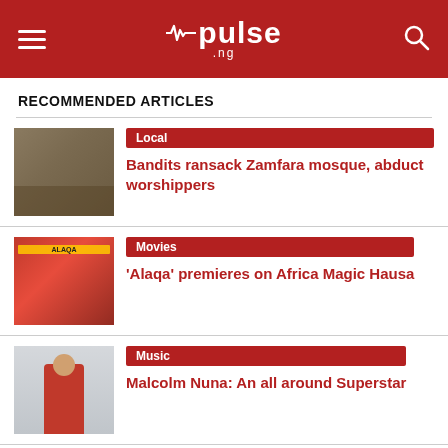pulse.ng
RECOMMENDED ARTICLES
Local — Bandits ransack Zamfara mosque, abduct worshippers
Movies — 'Alaqa' premieres on Africa Magic Hausa
Music — Malcolm Nuna: An all around Superstar
[Figure (other): Loading placeholder card with avatar circle and grey skeleton lines]